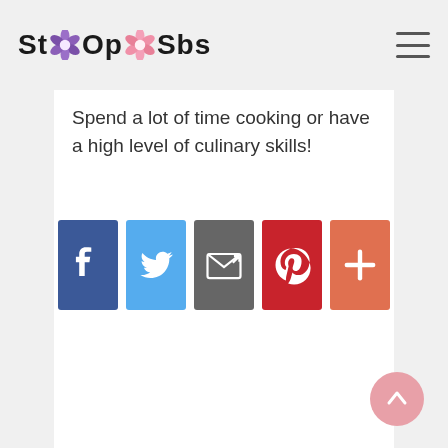StOOpSbs
Spend a lot of time cooking or have a high level of culinary skills!
[Figure (infographic): Row of five social sharing buttons: Facebook (blue), Twitter (light blue), Email/share (gray), Pinterest (red), More/plus (orange-red)]